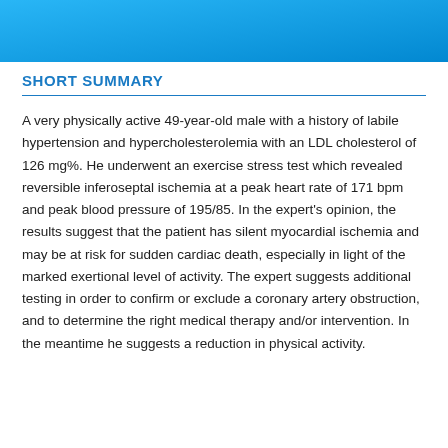[Figure (other): Blue gradient header bar across the top of the page]
SHORT SUMMARY
A very physically active 49-year-old male with a history of labile hypertension and hypercholesterolemia with an LDL cholesterol of 126 mg%. He underwent an exercise stress test which revealed reversible inferoseptal ischemia at a peak heart rate of 171 bpm and peak blood pressure of 195/85. In the expert's opinion, the results suggest that the patient has silent myocardial ischemia and may be at risk for sudden cardiac death, especially in light of the marked exertional level of activity. The expert suggests additional testing in order to confirm or exclude a coronary artery obstruction, and to determine the right medical therapy and/or intervention. In the meantime he suggests a reduction in physical activity.